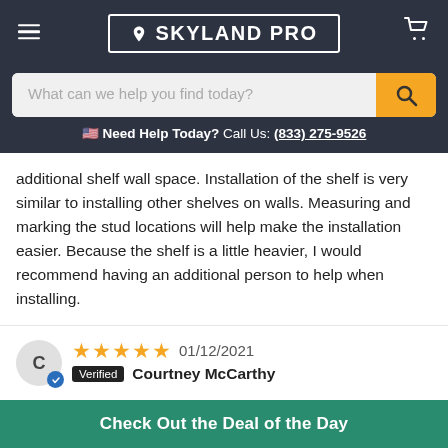SKYLAND PRO
What can we help you find today?
Need Help Today? Call Us: (833) 275-9526
additional shelf wall space. Installation of the shelf is very similar to installing other shelves on walls. Measuring and marking the stud locations will help make the installation easier. Because the shelf is a little heavier, I would recommend having an additional person to help when installing.
C  ★★★★★ 01/12/2021  Verified Courtney McCarthy
Well Made, Beautiful, Perfect Options
With all of the available options we were able to create the
Check Out the Deal of the Day